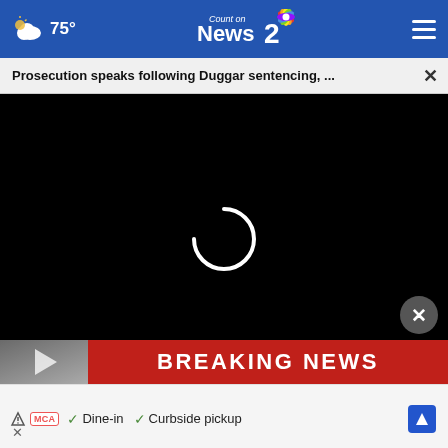75° Count on News 2 NBC
Prosecution speaks following Duggar sentencing, ...
[Figure (screenshot): Video player with black background showing a loading spinner, Breaking News bar at bottom, and video controls]
Dine-in  Curbside pickup